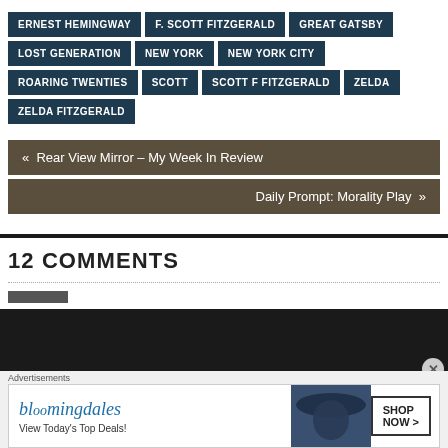ERNEST HEMINGWAY
F. SCOTT FITZGERALD
GREAT GATSBY
LOST GENERATION
NEW YORK
NEW YORK CITY
ROARING TWENTIES
SCOTT
SCOTT F FITZGERALD
ZELDA
ZELDA FITZGERALD
« Rear View Mirror – My Week In Review
Daily Prompt: Morality Play »
12 COMMENTS
Advertisements
[Figure (other): Bloomingdale's advertisement: bloomingdales View Today's Top Deals! with a woman in a wide-brim hat and SHOP NOW > button]